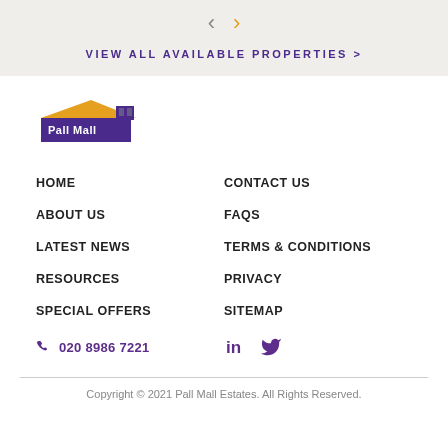< > VIEW ALL AVAILABLE PROPERTIES >
[Figure (logo): Pall Mall Estates logo with building silhouette and yellow roof]
HOME
CONTACT US
ABOUT US
FAQS
LATEST NEWS
TERMS & CONDITIONS
RESOURCES
PRIVACY
SPECIAL OFFERS
SITEMAP
020 8986 7221
LinkedIn Twitter icons
Copyright © 2021 Pall Mall Estates. All Rights Reserved.